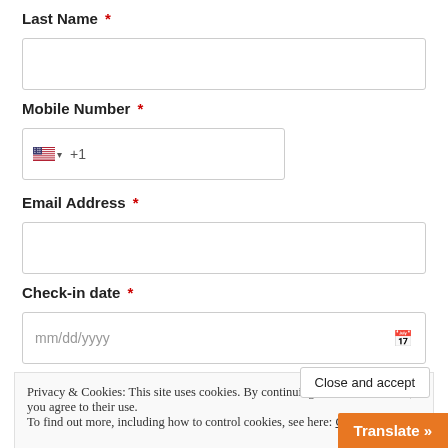Last Name *
[Figure (screenshot): Empty text input field for Last Name]
Mobile Number *
[Figure (screenshot): Phone input field with US flag, dropdown arrow, and +1 prefix]
Email Address *
[Figure (screenshot): Empty text input field for Email Address]
Check-in date *
[Figure (screenshot): Date input field with mm/dd/yyyy placeholder and calendar icon]
Privacy & Cookies: This site uses cookies. By continuing to use this website, you agree to their use. To find out more, including how to control cookies, see here: Cookie Policy
Close and accept
Translate »